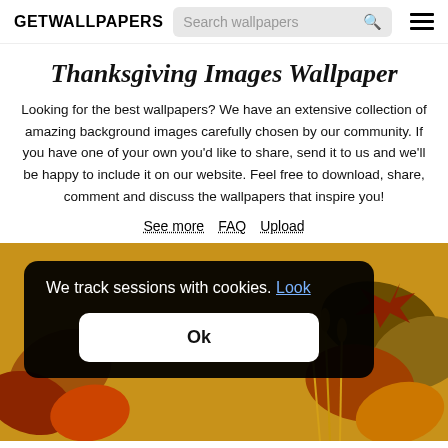GETWALLPAPERS
Thanksgiving Images Wallpaper
Looking for the best wallpapers? We have an extensive collection of amazing background images carefully chosen by our community. If you have one of your own you'd like to share, send it to us and we'll be happy to include it on our website. Feel free to download, share, comment and discuss the wallpapers that inspire you!
See more
FAQ
Upload
[Figure (photo): Thanksgiving themed wallpaper with autumn leaves in orange, red, and green tones]
We track sessions with cookies. Look
Ok